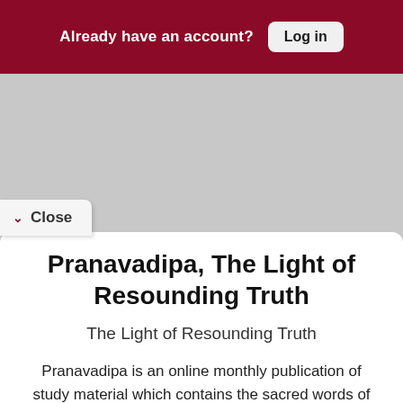Already have an account? Log in
Mahayogi’s visit.
“Those who perform all their duties for my sake, who depend upon me and are devoted
Close
Pranavadipa, The Light of Resounding Truth
The Light of Resounding Truth
Pranavadipa is an online monthly publication of study material which contains the sacred words of Satguru Shri Mahayogi Paramahansa, meant for the realization of True Freedom. (For Taiwan readers, please subscribe using the menu)